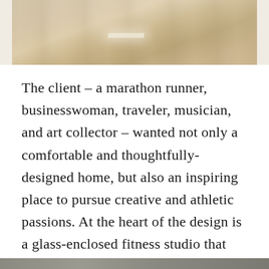[Figure (photo): Interior photo of a wooden floor with light wood planks, viewed from above at an angle, with white walls/baseboards visible and a bright light reflection streak across the floor]
The client – a marathon runner, businesswoman, traveler, musician, and art collector – wanted not only a comfortable and thoughtfully-designed home, but also an inspiring place to pursue creative and athletic passions. At the heart of the design is a glass-enclosed fitness studio that extends over the ridge. Surrounded by trees, the studio appears to float above the landscape as the topography falls steeply away.
[Figure (photo): Partial photo visible at bottom of page]